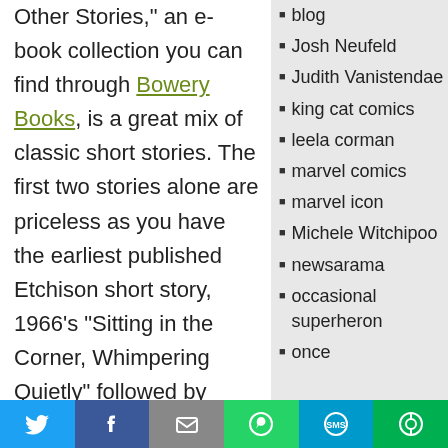Other Stories," an e-book collection you can find through Bowery Books, is a great mix of classic short stories. The first two stories alone are priceless as you have the earliest published Etchison short story, 1966's "Sitting in the Corner, Whimpering Quietly" followed by
blog
Josh Neufeld
Judith Vanistendae
king cat comics
leela corman
marvel comics
marvel icon
Michele Witchipoo
newsarama
occasional superhero
once